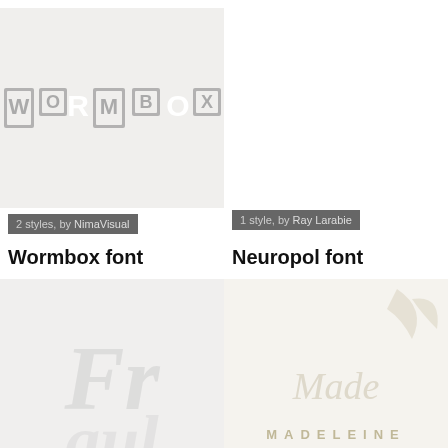[Figure (illustration): Wormbox font preview showing stylized blocky text 'WORMBOX' in white on a light gray background]
2 styles, by NimaVisual
Wormbox font
1 style, by Ray Larabie
Neuropol font
[Figure (illustration): Fraulein font preview showing large italic serif letters in light gray on light background]
3 styles, by Vic Fieger
Fraulein font
[Figure (illustration): Madeleine font preview showing decorative text and leaf/branch motifs in beige/cream tones]
2 styles, by Suandana | Pande Made
Madeleine font